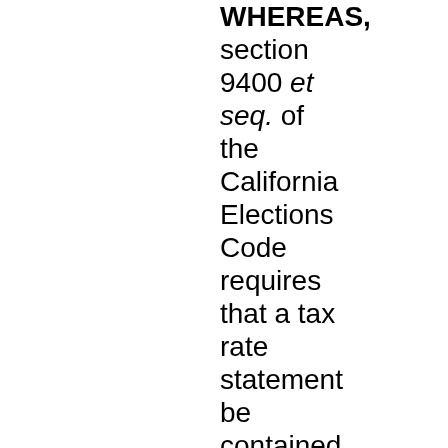WHEREAS, section 9400 et seq. of the California Elections Code requires that a tax rate statement be contained in all official materials, including any ballot pamphlet prepared, sponsored